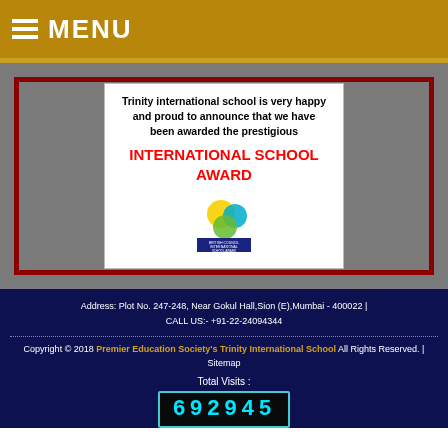MENU
[Figure (illustration): Award announcement card with text 'Trinity international school is very happy and proud to announce that we have been awarded the prestigious INTERNATIONAL SCHOOL AWARD' with ISA logo below, inside a dark red bordered box on gray background]
Address: Plot No. 247-248, Near Gokul Hall,Sion (E),Mumbai - 400022 | CALL US:- +91-22-24094344
Copyright © 2018 Premier Education Society's Trinity International School All Rights Reserved. | Sitemap
Total Visits :
692945